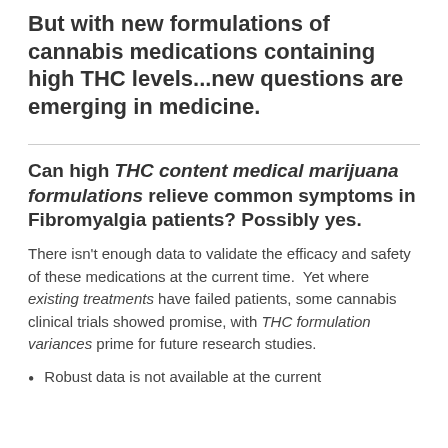But with new formulations of cannabis medications containing high THC levels...new questions are emerging in medicine.
Can high THC content medical marijuana formulations relieve common symptoms in Fibromyalgia patients? Possibly yes.
There isn't enough data to validate the efficacy and safety of these medications at the current time.  Yet where existing treatments have failed patients, some cannabis clinical trials showed promise, with THC formulation variances prime for future research studies.
Robust data is not available at the current